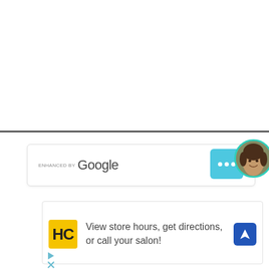[Figure (screenshot): Horizontal black divider line separating blank white space above from UI content below]
[Figure (screenshot): Google Enhanced search bar with ENHANCED BY Google label, teal three-dots button, and circular profile photo of a woman with teal border]
[Figure (screenshot): Advertisement card with HC yellow logo, text 'View store hours, get directions, or call your salon!', blue navigation arrow icon, and play/close icons]